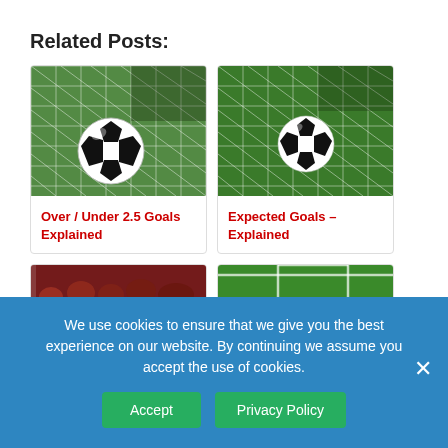Related Posts:
[Figure (photo): Soccer ball in goal net, close-up, grass background — card image for 'Over / Under 2.5 Goals Explained']
Over / Under 2.5 Goals Explained
[Figure (photo): Soccer ball in goal net, slightly different angle — card image for 'Expected Goals – Explained']
Expected Goals – Explained
[Figure (photo): Partially visible image, crowd in stadium background — bottom left card, partially cut off]
[Figure (photo): Partially visible image, green field background — bottom right card, partially cut off]
We use cookies to ensure that we give you the best experience on our website. By continuing we assume you accept the use of cookies.